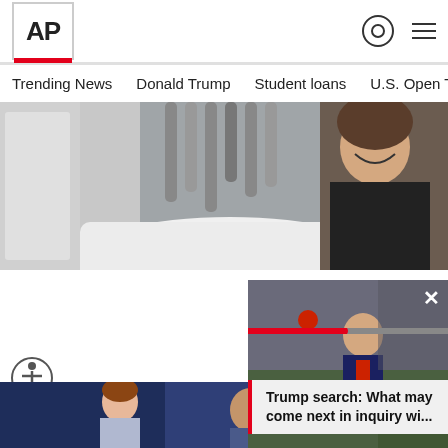AP
Trending News
Donald Trump
Student loans
U.S. Open Tenn
[Figure (photo): Woman smiling in a medical/cosmetic procedure setting with machinery overhead]
The Cost of Laser Liposuction in Ashburn Might Surprise You
Promoted : Laser Liposuction
[Figure (photo): Trump walking outdoors in dark suit with red tie, popup video overlay]
[Figure (illustration): Animated illustration of a person in a car]
Trump search: What may come next in inquiry wi...